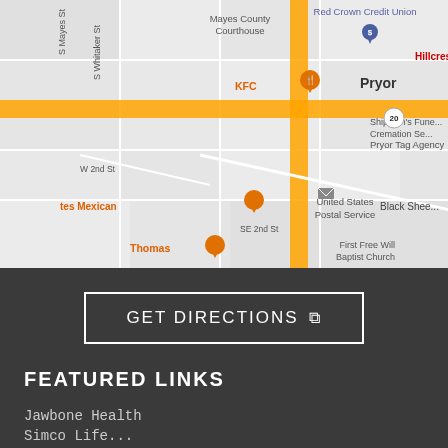[Figure (map): Google Maps view of Pryor, Oklahoma showing streets including SE 2nd St, W 2nd St, S Mayes St, S Whitaker St, S Hogan St. Landmarks visible include Mayes County Courthouse, Red Crown Credit Union, Hillcrest Hospital (in red), KFC, Pryor Tag Agency, United States Postal Service, Shipman's Funeral Cremation Se, Black Shee, First Free Will Baptist Church, Thomas restaurant. Orange highlighted roads run vertically and horizontally through the map.]
GET DIRECTIONS ↗
FEATURED LINKS
Jawbone Health
Simco Life...